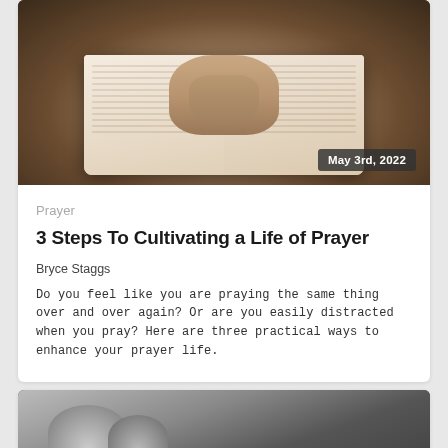[Figure (photo): Overhead view of hands clasped in prayer over an open Bible on a wooden table. Date badge reads May 3rd, 2022.]
Prayer
3 Steps To Cultivating a Life of Prayer
Bryce Staggs
Do you feel like you are praying the same thing over and over again? Or are you easily distracted when you pray? Here are three practical ways to enhance your prayer life.
[Figure (photo): Black and white close-up photo of hands clasped together, partially visible at bottom of page.]